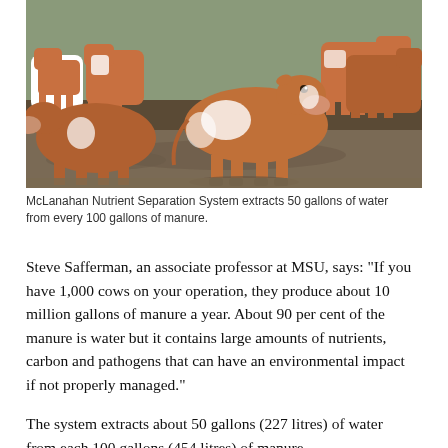[Figure (photo): A group of brown and white dairy cows standing in muddy water near a barn or feeding area. The cows are Hereford or similar breed, with red-brown and white markings. The ground is wet and muddy.]
McLanahan Nutrient Separation System extracts 50 gallons of water from every 100 gallons of manure.
Steve Safferman, an associate professor at MSU, says: “If you have 1,000 cows on your operation, they produce about 10 million gallons of manure a year. About 90 per cent of the manure is water but it contains large amounts of nutrients, carbon and pathogens that can have an environmental impact if not properly managed.”
The system extracts about 50 gallons (227 litres) of water from each 100 gallons (454 litres) of manure